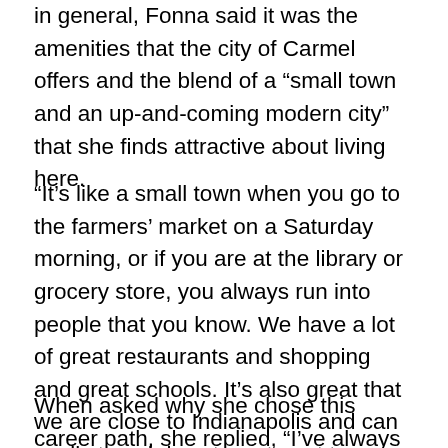in general, Fonna said it was the amenities that the city of Carmel offers and the blend of a “small town and an up-and-coming modern city” that she finds attractive about living here.
“It’s like a small town when you go to the farmers’ market on a Saturday morning, or if you are at the library or grocery store, you always run into people that you know. We have a lot of great restaurants and shopping and great schools. It’s also great that we are close to Indianapolis and can easily travel downtown to get to a Pacers or Colts game.”
When asked why she chose this career path, she replied, “I’ve always been attracted to government and politics. Witnessing how hard the people [in the] city...